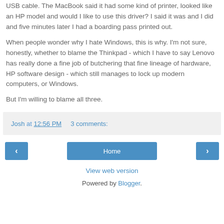USB cable. The MacBook said it had some kind of printer, looked like an HP model and would I like to use this driver? I said it was and I did and five minutes later I had a boarding pass printed out.
When people wonder why I hate Windows, this is why. I'm not sure, honestly, whether to blame the Thinkpad - which I have to say Lenovo has really done a fine job of butchering that fine lineage of hardware, HP software design - which still manages to lock up modern computers, or Windows.
But I'm willing to blame all three.
Josh at 12:56 PM     3 comments:
Home
View web version
Powered by Blogger.